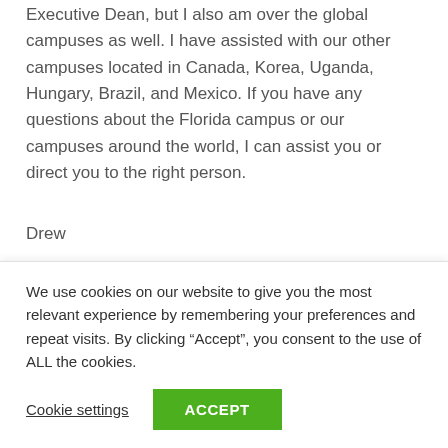Executive Dean, but I also am over the global campuses as well. I have assisted with our other campuses located in Canada, Korea, Uganda, Hungary, Brazil, and Mexico. If you have any questions about the Florida campus or our campuses around the world, I can assist you or direct you to the right person.
Drew
Dean of Students |dburtis@wol.org
Hello! My job as the Dean of Students is to facilitate the direct...
We use cookies on our website to give you the most relevant experience by remembering your preferences and repeat visits. By clicking “Accept”, you consent to the use of ALL the cookies.
Cookie settings
ACCEPT